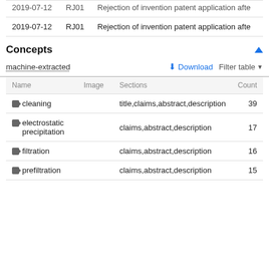| Date | Code | Description |
| --- | --- | --- |
| 2019-07-12 | RJ01 | Rejection of invention patent application afte |
| 2019-07-12 | RJ01 | Rejection of invention patent application afte |
Concepts
machine-extracted
| Name | Image | Sections | Count |
| --- | --- | --- | --- |
| cleaning |  | title,claims,abstract,description | 39 |
| electrostatic precipitation |  | claims,abstract,description | 17 |
| filtration |  | claims,abstract,description | 16 |
| prefiltration |  | claims,abstract,description | 15 |